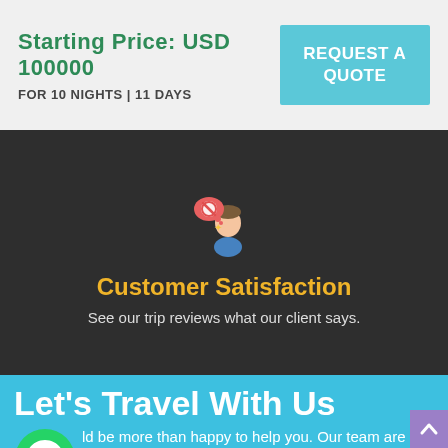Starting Price: USD 100000
FOR 10 NIGHTS | 11 DAYS
REQUEST A QUOTE
[Figure (illustration): Customer satisfaction icon: person with thought bubble containing symbols]
Customer Satisfaction
See our trip reviews what our client says.
Let's Travel With Us
[Figure (logo): WhatsApp logo icon in green circle]
ld be more than happy to help you. Our team are 24/7 at your service to help you.